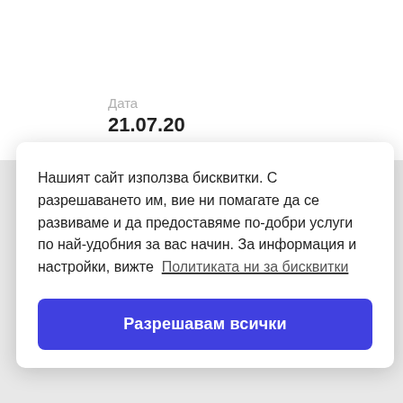Дата
21.07.20
Нашият сайт използва бисквитки. С разрешаването им, вие ни помагате да се развиваме и да предоставяме по-добри услуги по най-удобния за вас начин. За информация и настройки, вижте  Политиката ни за бисквитки
Разрешавам всички